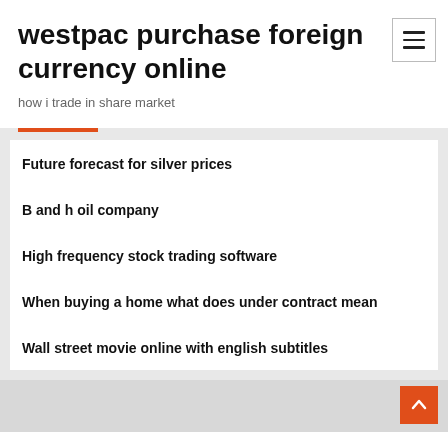westpac purchase foreign currency online
how i trade in share market
Future forecast for silver prices
B and h oil company
High frequency stock trading software
When buying a home what does under contract mean
Wall street movie online with english subtitles